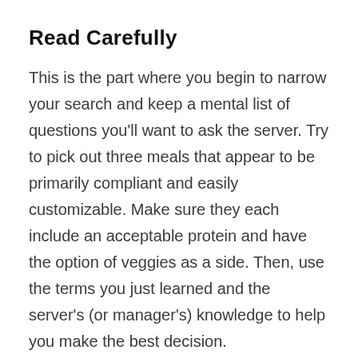Read Carefully
This is the part where you begin to narrow your search and keep a mental list of questions you’ll want to ask the server.  Try to pick out three meals that appear to be primarily compliant and easily customizable.  Make sure they each include an acceptable protein and have the option of veggies as a side. Then, use the terms you just learned and the server’s (or manager’s) knowledge to help you make the best decision.
Keep in mind what you learned in your research about the cooking fats the restaurant has available, and do your best to keep your substitution requests reasonable. You can (and should) ask to